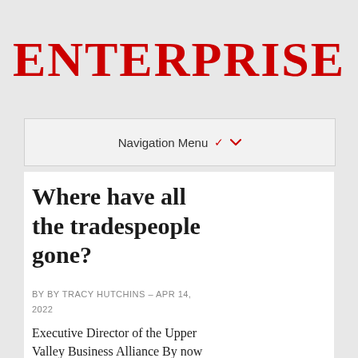ENTERPRISE
Navigation Menu ▾
Where have all the tradespeople gone?
BY BY TRACY HUTCHINS - APR 14, 2022
Executive Director of the Upper Valley Business Alliance By now